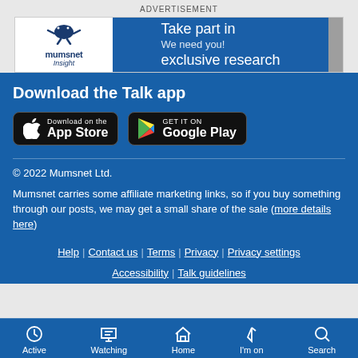ADVERTISEMENT
[Figure (illustration): Mumsnet Insight advertisement banner: white left panel with Mumsnet Insight logo, blue right panel with text 'Take part in exclusive research / We need you!']
Download the Talk app
[Figure (illustration): App Store download button (black rounded rectangle with Apple logo and 'Download on the App Store')]
[Figure (illustration): Google Play download button (black rounded rectangle with Google Play logo and 'GET IT ON Google Play')]
© 2022 Mumsnet Ltd.
Mumsnet carries some affiliate marketing links, so if you buy something through our posts, we may get a small share of the sale (more details here)
Help | Contact us | Terms | Privacy | Privacy settings Accessibility | Talk guidelines
Active | Watching | Home | I'm on | Search